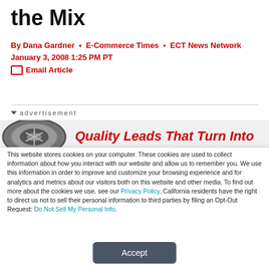the Mix
By Dana Gardner • E-Commerce Times • ECT News Network
January 3, 2008 1:25 PM PT
✉ Email Article
[Figure (infographic): Advertisement banner with tire image and red text 'Quality Leads That Turn Into']
This website stores cookies on your computer. These cookies are used to collect information about how you interact with our website and allow us to remember you. We use this information in order to improve and customize your browsing experience and for analytics and metrics about our visitors both on this website and other media. To find out more about the cookies we use, see our Privacy Policy. California residents have the right to direct us not to sell their personal information to third parties by filing an Opt-Out Request: Do Not Sell My Personal Info.